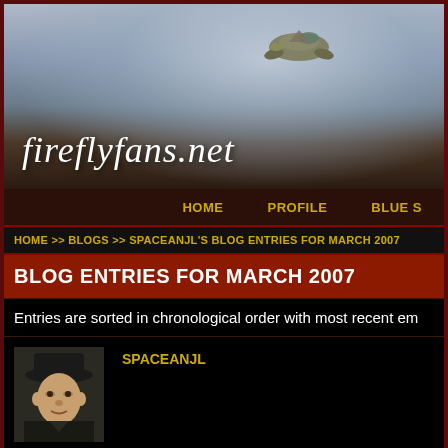[Figure (screenshot): fireflyfans.net website banner with spaceship flying over misty landscape. White italic text reads 'fireflyfans.net']
HOME   PROFILE   BLUE S
HOME >> BLOGS >> SPACEANJL'S BLOG ENTRIES FOR MARCH 2007
BLOG ENTRIES FOR MARCH 2007
Entries are sorted in chronological order with most recent em
[Figure (photo): Avatar photo of SPACEANJL user - man wearing dark hat]
SPACEANJL
Black and White and Red All Over
Sunday, March 4, 2007 1:20:46 AM